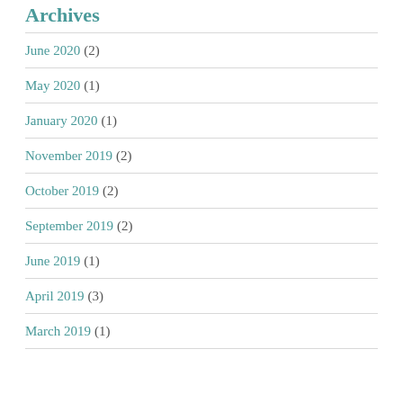Archives
June 2020 (2)
May 2020 (1)
January 2020 (1)
November 2019 (2)
October 2019 (2)
September 2019 (2)
June 2019 (1)
April 2019 (3)
March 2019 (1)